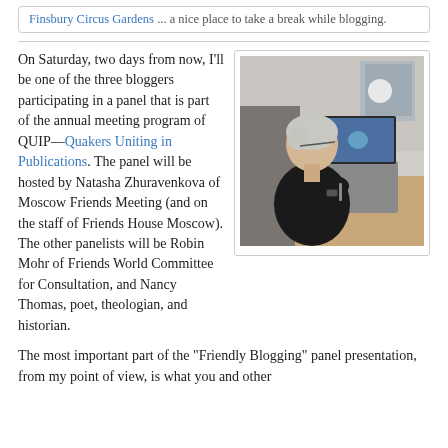Finsbury Circus Gardens ... a nice place to take a break while blogging.
On Saturday, two days from now, I'll be one of the three bloggers participating in a panel that is part of the annual meeting program of QUIP—Quakers Uniting in Publications. The panel will be hosted by Natasha Zhuravenkova of Moscow Friends Meeting (and on the staff of Friends House Moscow). The other panelists will be Robin Mohr of Friends World Committee for Consultation, and Nancy Thomas, poet, theologian, and historian.
[Figure (photo): An older person with short white hair and glasses sitting at a desk with a laptop, viewed from behind and to the side, wearing a black top.]
The most important part of the "Friendly Blogging" panel presentation, from my point of view, is what you and other